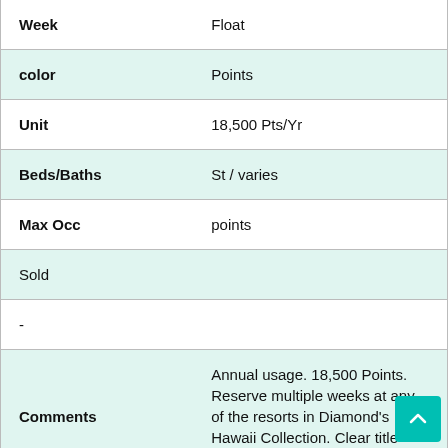| Field | Value |
| --- | --- |
| Week | Float |
| color | Points |
| Unit | 18,500 Pts/Yr |
| Beds/Baths | St / varies |
| Max Occ | points |
| Sold |  |
| - |  |
| Comments | Annual usage. 18,500 Points. Reserve multiple weeks at any of the resorts in Diamond's Hawaii Collection. Clear title guaranteed. Sold by |